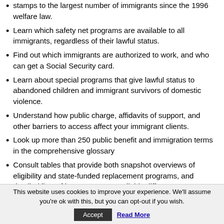stamps to the largest number of immigrants since the 1996 welfare law.
Learn which safety net programs are available to all immigrants, regardless of their lawful status.
Find out which immigrants are authorized to work, and who can get a Social Security card.
Learn about special programs that give lawful status to abandoned children and immigrant survivors of domestic violence.
Understand how public charge, affidavits of support, and other barriers to access affect your immigrant clients.
Look up more than 250 public benefit and immigration terms in the comprehensive glossary
Consult tables that provide both snapshot overviews of eligibility and state-funded replacement programs, and detailed lists of how programs available differ by state...
This website uses cookies to improve your experience. We'll assume you're ok with this, but you can opt-out if you wish. Accept Read More